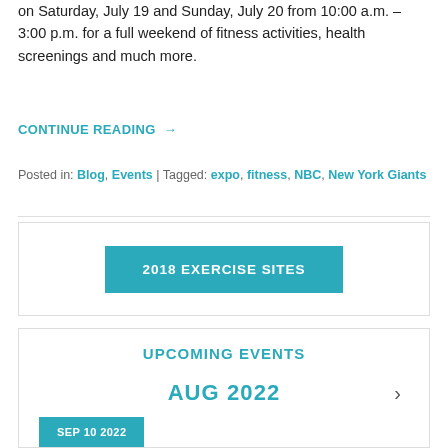on Saturday, July 19 and Sunday, July 20 from 10:00 a.m. – 3:00 p.m. for a full weekend of fitness activities, health screenings and much more.
CONTINUE READING →
Posted in: Blog, Events | Tagged: expo, fitness, NBC, New York Giants
[Figure (other): Button labeled '2018 EXERCISE SITES' in teal/cyan color inside a bordered box]
UPCOMING EVENTS
AUG 2022 >
Sep 10 2022 (partially visible teal button)